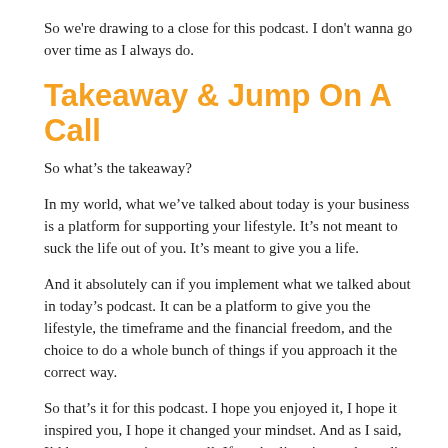So we're drawing to a close for this podcast. I don't wanna go over time as I always do.
Takeaway & Jump On A Call
So what's the takeaway?
In my world, what we've talked about today is your business is a platform for supporting your lifestyle. It's not meant to suck the life out of you. It's meant to give you a life.
And it absolutely can if you implement what we talked about in today's podcast. It can be a platform to give you the lifestyle, the timeframe and the financial freedom, and the choice to do a whole bunch of things if you approach it the correct way.
So that's it for this podcast. I hope you enjoyed it, I hope it inspired you, I hope it changed your mindset. And as I said, I'd love you to give us a call. If you're listening to the audio only podcast, you can go to this website here. You can probably... If you're listening to the audio only, right?
You probably can't see me pointing at it, but go to